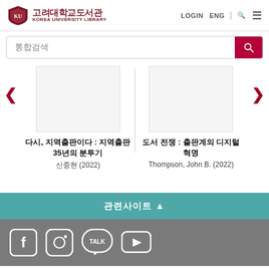고려대학교도서관 KOREA UNIVERSITY LIBRARY — LOGIN ENG
통합검색
[Figure (screenshot): Book cover placeholder for 다시, 지역출판이다 : 지역출판 35년의 분투기]
다시, 지역출판이다 : 지역출판 35년의 분투기
신중현 (2022)
[Figure (screenshot): Book cover placeholder for 도서 전쟁 : 출판계의 디지털 혁명]
도서 전쟁 : 출판계의 디지털 혁명
Thompson, John B. (2022)
관련사이트 ▲
[Figure (other): Social media icons: Facebook, Instagram, KakaoTalk, YouTube]